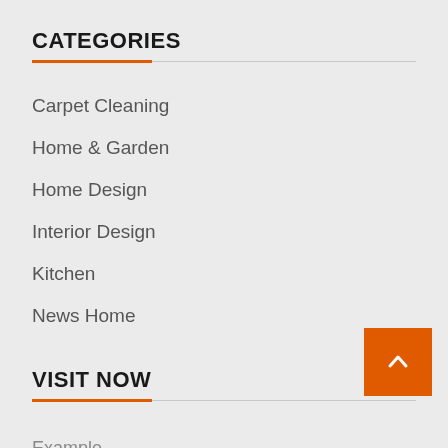CATEGORIES
Carpet Cleaning
Home & Garden
Home Design
Interior Design
Kitchen
News Home
VISIT NOW
Example